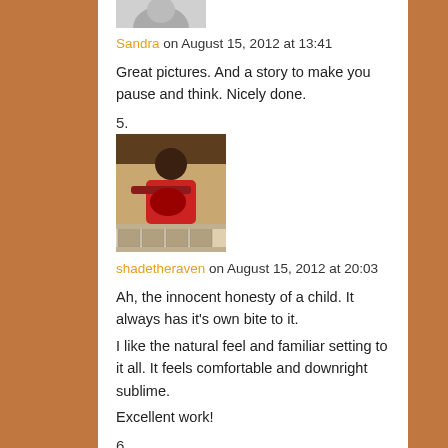[Figure (photo): Partial avatar image at top, grayscale, cropped]
Sandra on August 15, 2012 at 13:41
Great pictures. And a story to make you pause and think. Nicely done.
5.
[Figure (photo): Avatar showing man playing guitar with film strip at bottom]
shadetheraven on August 15, 2012 at 20:03
Ah, the innocent honesty of a child. It always has it's own bite to it.
I like the natural feel and familiar setting to it all. It feels comfortable and downright sublime.
Excellent work!
6.
[Figure (photo): Blue abstract avatar image, partially visible at bottom]